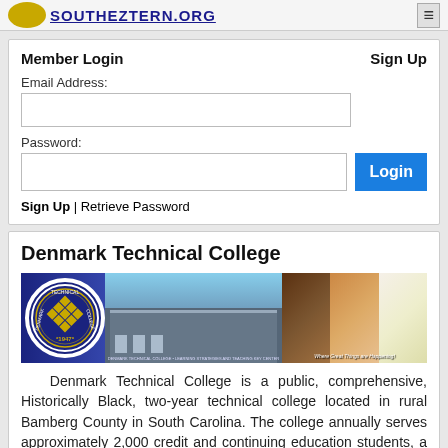SOUTHEZTERN.ORG
Member Login | Sign Up
Email Address:
Password:
Sign Up | Retrieve Password
Denmark Technical College
[Figure (photo): Denmark Technical College banner with seal (1947), building exterior, and campus life photos with tagline 'Where Great Things are Happening!']
Denmark Technical College is a public, comprehensive, Historically Black, two-year technical college located in rural Bamberg County in South Carolina. The college annually serves approximately 2,000 credit and continuing education students, a mix